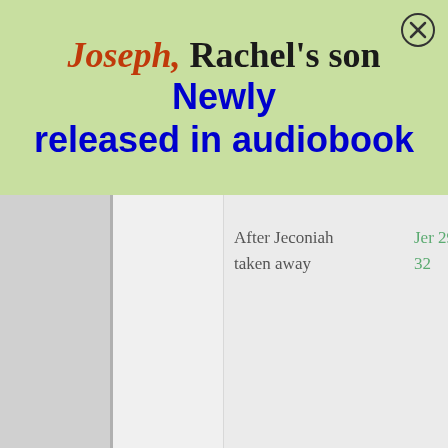[Figure (other): Advertisement banner with green background. Title reads: Joseph, Rachel's son  Newly released in audiobook. 'Joseph,' in red italic, 'Rachel's son' in black bold serif, 'Newly released in audiobook' in blue bold sans-serif. Close button (circle with X) in top right.]
| Event | Reference | Description |
| --- | --- | --- |
| After Jeconiah taken away | Jer 29:1-32 | Jeremia letter ( Geman Elasah Shaph exiles s there v years c then p would back. *Thus s |